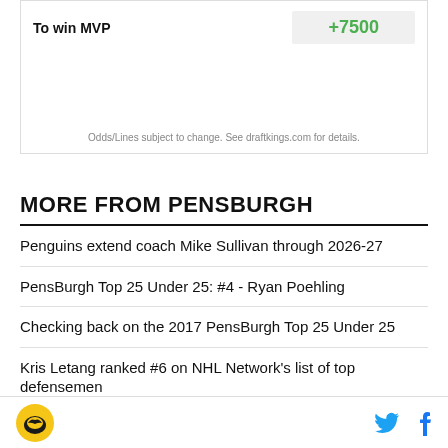| To win MVP | +7500 |
| --- | --- |
Odds/Lines subject to change. See draftkings.com for details.
MORE FROM PENSBURGH
Penguins extend coach Mike Sullivan through 2026-27
PensBurgh Top 25 Under 25: #4 - Ryan Poehling
Checking back on the 2017 PensBurgh Top 25 Under 25
Kris Letang ranked #6 on NHL Network's list of top defensemen
PensBurgh Top 25 Under 25: #5 - Drew O'Connor
Pensburgh logo, Twitter and Facebook icons